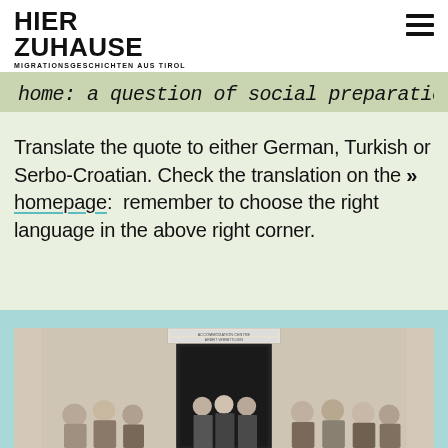HIER ZUHAUSE
MIGRATIONSGESCHICHTEN AUS TIROL
[Figure (other): Handwritten cursive text on light green background: 'home: a question of social preparation']
Translate the quote to either German, Turkish or Serbo-Croatian. Check the translation on the » homepage: remember to choose the right language in the above right corner.
[Figure (photo): Black and white historical photograph of a group of people standing in front of a building entrance with a sign above the door]